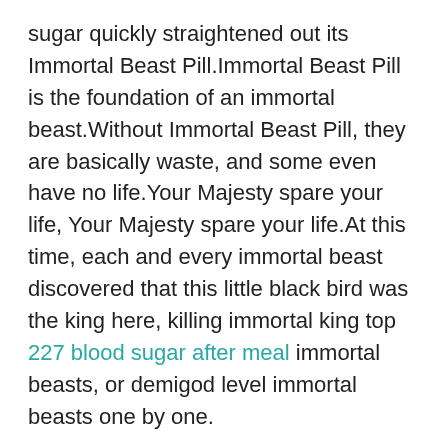sugar quickly straightened out its Immortal Beast Pill.Immortal Beast Pill is the foundation of an immortal beast.Without Immortal Beast Pill, they are basically waste, and some even have no life.Your Majesty spare your life, Your Majesty spare your life.At this time, each and every immortal beast discovered that this little black bird was the king here, killing immortal king top 227 blood sugar after meal immortal beasts, or demigod level immortal beasts one by one.
If only in order to achieve their purpose of killing the chief of the Divine Sword Clan, then Xuan Hanbing and the others would be in a lot of danger.
All the how to control blood sugar with baking soda air was blocked.Boom.Xuan Hanbing is giant palm attacked.Bang bang bang.The streamer kept beating Zhao Ling is Fang Tianhua halberd.Master, pay attention.The four major servants often join forces to discuss each other, and the tacit understanding